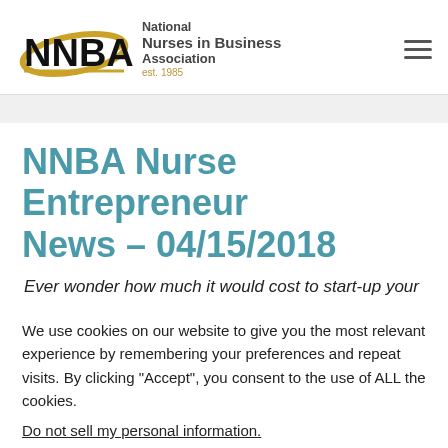[Figure (logo): NNBA - National Nurses in Business Association, est. 1985 logo with hamburger menu icon]
NNBA Nurse Entrepreneur News – 04/15/2018
Ever wonder how much it would cost to start-up your
We use cookies on our website to give you the most relevant experience by remembering your preferences and repeat visits. By clicking “Accept”, you consent to the use of ALL the cookies.
Do not sell my personal information.
Cookie settings  ACCEPT